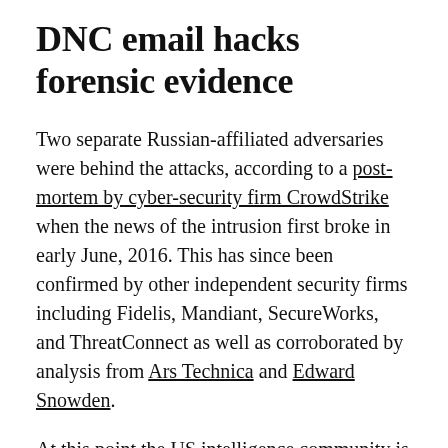DNC email hacks forensic evidence
Two separate Russian-affiliated adversaries were behind the attacks, according to a post-mortem by cyber-security firm CrowdStrike when the news of the intrusion first broke in early June, 2016. This has since been confirmed by other independent security firms including Fidelis, Mandiant, SecureWorks, and ThreatConnect as well as corroborated by analysis from Ars Technica and Edward Snowden.
At this point the US intelligence community is confident enough to formally accuse Russia of